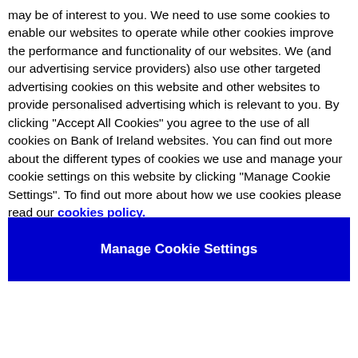may be of interest to you. We need to use some cookies to enable our websites to operate while other cookies improve the performance and functionality of our websites. We (and our advertising service providers) also use other targeted advertising cookies on this website and other websites to provide personalised advertising which is relevant to you. By clicking "Accept All Cookies" you agree to the use of all cookies on Bank of Ireland websites. You can find out more about the different types of cookies we use and manage your cookie settings on this website by clicking "Manage Cookie Settings". To find out more about how we use cookies please read our cookies policy.
Manage Cookie Settings
Expleo believes its 'Reboot Fund' will be of significant benefit to businesses across the island.
Preparing for a brighter business